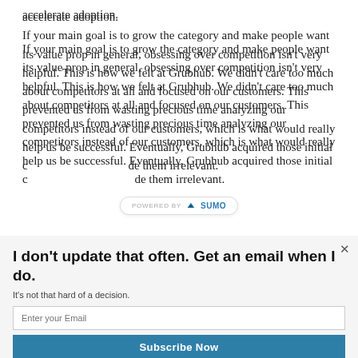accelerate adoption.
If your main goal is to grow the category and make people want its value prop in general, obsessing over competition isn't very helpful. This is how we felt at Grubhub. We didn't care too much about competitors at all and focused on our customers. This prevented us from wasting precious time analyzing our competitors instead of our customers, which is what would really help us be successful. Eventually, Grubhub acquired those initial c[ompetitors and] made them irrelevant.
[Figure (screenshot): POWERED BY SUMO badge overlay appearing mid-paragraph]
I don't update that often. Get an email when I do.
It's not that hard of a decision.
Enter your Email
Subscribe Now